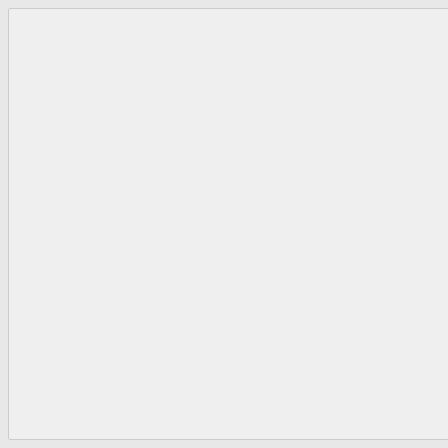[Figure (illustration): Two game cards partially visible. Top: a Treasure card (cost 5, 'TREASURE' title, Illustration: Jason Slavin). Bottom: an Explorer card (cost 5, 'EXPLORER' title, artwork showing a ship prow with figurehead, red sails, a woman in period dress, ocean waves and seagulls, with card text about revealing a Province from hand to gain Gold, and playing an Action card, type ACTION, Illustration: Dennis Lohausen).]